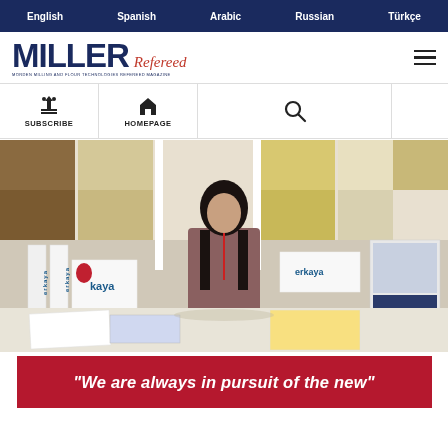English  Spanish  Arabic  Russian  Türkçe
[Figure (logo): MILLER Refereed magazine logo with subtitle text]
[Figure (photo): Exhibition booth photo — woman standing behind a table at a trade show with Erkaya branded displays, bread product images on backdrop panels, and marketing materials on the table]
“We are always in pursuit of the new”